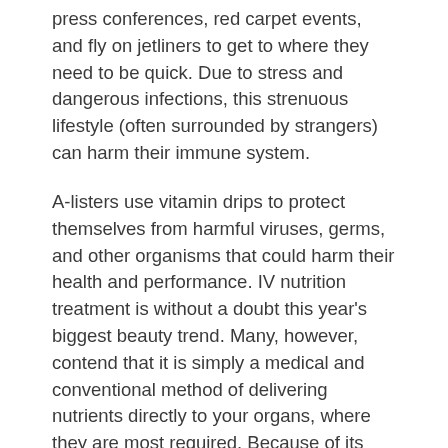press conferences, red carpet events, and fly on jetliners to get to where they need to be quick. Due to stress and dangerous infections, this strenuous lifestyle (often surrounded by strangers) can harm their immune system.
A-listers use vitamin drips to protect themselves from harmful viruses, germs, and other organisms that could harm their health and performance. IV nutrition treatment is without a doubt this year's biggest beauty trend. Many, however, contend that it is simply a medical and conventional method of delivering nutrients directly to your organs, where they are most required. Because of its effective distribution technique, this therapy is perceived as a rapid shortcut to ultimate beauty. It's easy to appreciate its repute and authenticity when several of the world's most well-known celebrities participate in it.
Whether you want to increase your energy or look 20 years younger, IV treatment has something for everyone. The idea